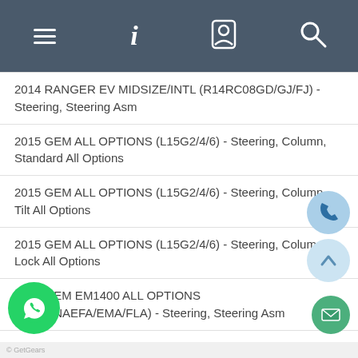Navigation bar with menu, info, profile, and search icons
2014 RANGER EV MIDSIZE/INTL (R14RC08GD/GJ/FJ) - Steering, Steering Asm
2015 GEM ALL OPTIONS (L15G2/4/6) - Steering, Column, Standard All Options
2015 GEM ALL OPTIONS (L15G2/4/6) - Steering, Column, Tilt All Options
2015 GEM ALL OPTIONS (L15G2/4/6) - Steering, Column, Lock All Options
2015 GEM EM1400 ALL OPTIONS (L15U2NAEFA/EMA/FLA) - Steering, Steering Asm
2015 M1400 GAS (L15U2NAGFA/MA) - Steering, Steering
2016 EM1400 (L16U2NAEFA/EMA/FLA) - Steering, Steering Asm